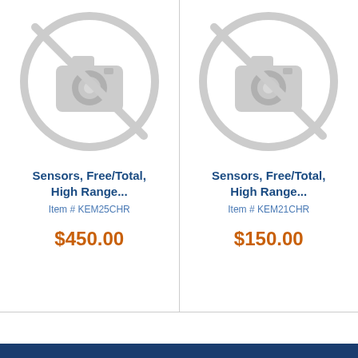[Figure (other): No image placeholder icon (camera with slash through it) for product KEM25CHR]
Sensors, Free/Total, High Range...
Item # KEM25CHR
$450.00
[Figure (other): No image placeholder icon (camera with slash through it) for product KEM21CHR]
Sensors, Free/Total, High Range...
Item # KEM21CHR
$150.00